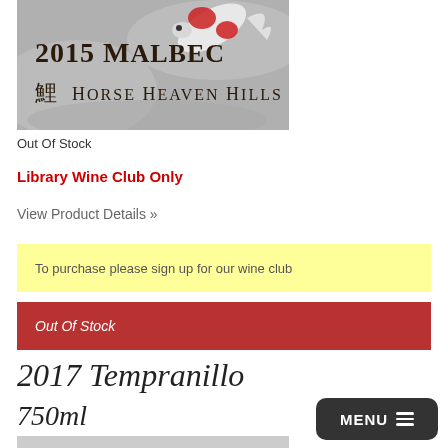[Figure (photo): Wine bottle label image showing '2015 Malbec Horse Heaven Hills' with a koi fish on a grey/white water background with red accents]
Out Of Stock
Library Wine Club Only
View Product Details »
To purchase please sign up for our wine club
Out Of Stock
2017 Tempranillo
750ml